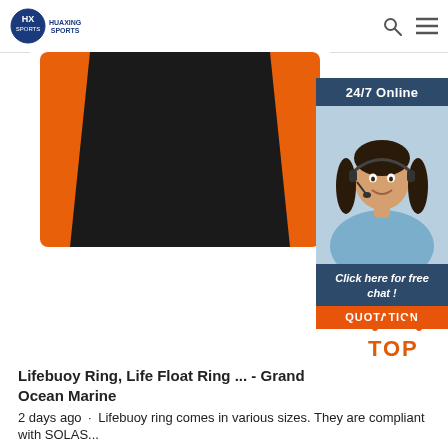HUAXING SPORTS
[Figure (photo): Orange and black product (cushion/mat) photographed against white background, partially cropped]
[Figure (photo): Customer service representative sidebar panel with '24/7 Online' header, woman with headset, 'Click here for free chat!' text and orange QUOTATION button]
[Figure (illustration): Orange dotted 'TOP' icon graphic at bottom right]
Lifebuoy Ring, Life Float Ring ... - Grand Ocean Marine
2 days agou2002·u2002Lifebuoy ring comes in various sizes. They are compliant with SOLAS...